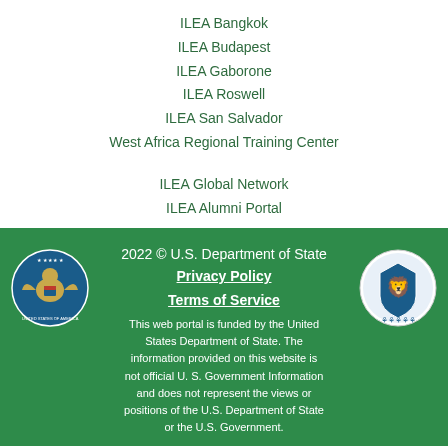ILEA Bangkok
ILEA Budapest
ILEA Gaborone
ILEA Roswell
ILEA San Salvador
West Africa Regional Training Center
ILEA Global Network
ILEA Alumni Portal
2022 © U.S. Department of State
Privacy Policy
Terms of Service
This web portal is funded by the United States Department of State. The information provided on this website is not official U.S. Government Information and does not represent the views or positions of the U.S. Department of State or the U.S. Government.